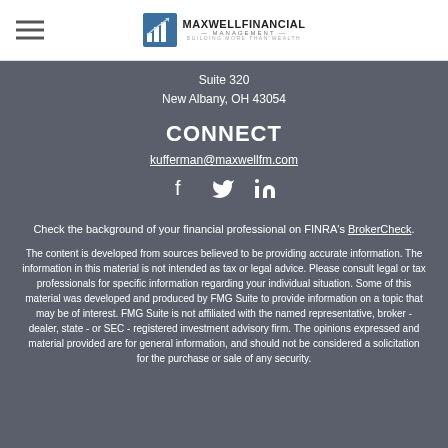Maxwell Financial Management — Building More Than Wealth
Suite 320
New Albany, OH 43054
CONNECT
kufferman@maxwellfm.com
[Figure (illustration): Social media icons: Facebook, Twitter, LinkedIn]
Check the background of your financial professional on FINRA's BrokerCheck.
The content is developed from sources believed to be providing accurate information. The information in this material is not intended as tax or legal advice. Please consult legal or tax professionals for specific information regarding your individual situation. Some of this material was developed and produced by FMG Suite to provide information on a topic that may be of interest. FMG Suite is not affiliated with the named representative, broker - dealer, state - or SEC - registered investment advisory firm. The opinions expressed and material provided are for general information, and should not be considered a solicitation for the purchase or sale of any security.